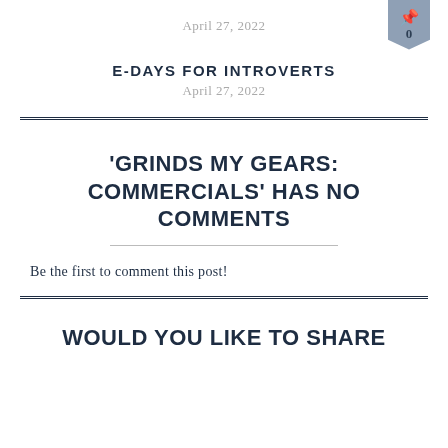April 27, 2022
E-DAYS FOR INTROVERTS
April 27, 2022
'GRINDS MY GEARS: COMMERCIALS' HAS NO COMMENTS
Be the first to comment this post!
WOULD YOU LIKE TO SHARE